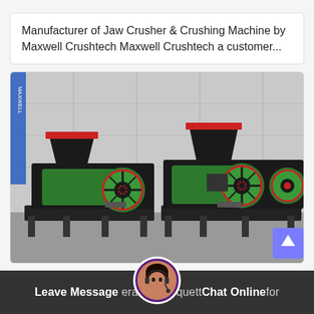Manufacturer of Jaw Crusher & Crushing Machine by Maxwell Crushtech Maxwell Crushtech a customer...
[Figure (photo): Two large industrial jaw crusher / crushing machines with black frames, green bodies, red flywheel accents, and red-trimmed black hopper inlets on top. Machines are shown outdoors in front of a large industrial building with corrugated metal walls. A blue banner is partially visible on the left side.]
Leave Message  eral  riquett  Chat Online  for